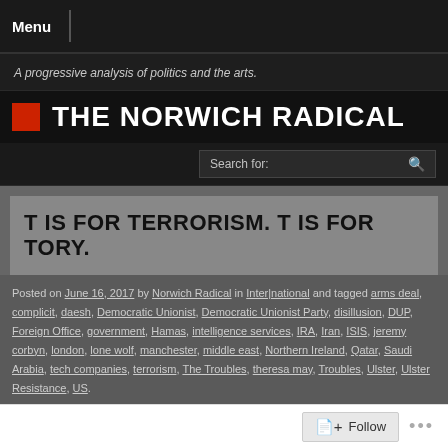Menu
A progressive analysis of politics and the arts.
THE NORWICH RADICAL
Search for:
T IS FOR TERRORISM. T IS FOR TORY.
Posted on June 16, 2017 by Norwich Radical in Inter|national and tagged arms deal, complicit, daesh, Democratic Unionist, Democratic Unionist Party, disillusion, DUP, Foreign Office, government, Hamas, intelligence services, IRA, Iran, ISIS, jeremy corbyn, london, lone wolf, manchester, middle east, Northern Ireland, Qatar, Saudi Arabia, tech companies, terrorism, The Troubles, theresa may, Troubles, Ulster, Ulster Resistance, US.
Follow